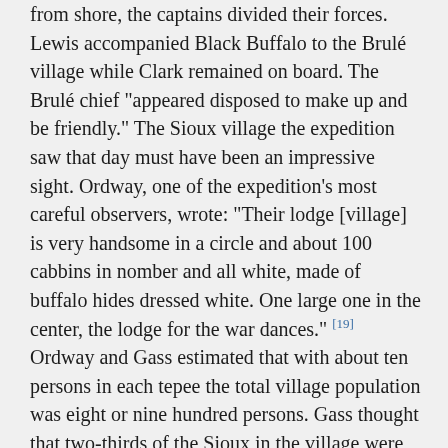from shore, the captains divided their forces. Lewis accompanied Black Buffalo to the Brulé village while Clark remained on board. The Brulé chief "appeared disposed to make up and be friendly." The Sioux village the expedition saw that day must have been an impressive sight. Ordway, one of the expedition's most careful observers, wrote: "Their lodge [village] is very handsome in a circle and about 100 cabbins in nomber and all white, made of buffalo hides dressed white. One large one in the center, the lodge for the war dances." [19] Ordway and Gass estimated that with about ten persons in each tepee the total village population was eight or nine hundred persons. Gass thought that two-thirds of the Sioux in the village were women and children. [20]
As the morning slipped away and no word came from Lewis, those on the keelboat "became uneasy for fear of Deception." After about three hours, Clark sent Gass to find Lewis. Gass reported back that Lewis i...